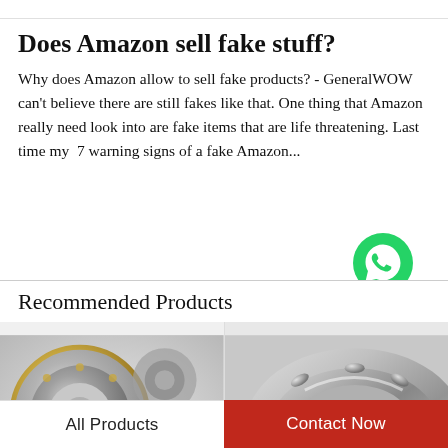Does Amazon sell fake stuff?
Why does Amazon allow to sell fake products? - GeneralWOW can't believe there are still fakes like that. One thing that Amazon really need look into are fake items that are life threatening. Last time my  7 warning signs of a fake Amazon...
[Figure (illustration): WhatsApp Online green icon with label]
Recommended Products
[Figure (photo): Multiple metallic ball bearings and rolling bearings on a light background]
[Figure (photo): Close-up of a large tapered roller bearing, metallic silver finish]
All Products    Contact Now